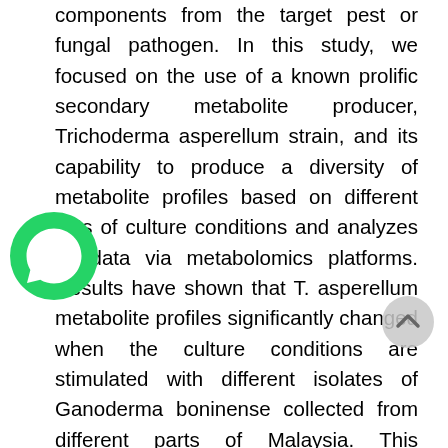components from the target pest or fungal pathogen. In this study, we focused on the use of a known prolific secondary metabolite producer, Trichoderma asperellum strain, and its capability to produce a diversity of metabolite profiles based on different sets of culture conditions and analyzes its data via metabolomics platforms. Results have shown that T. asperellum metabolite profiles significantly changed when the culture conditions are stimulated with different isolates of Ganoderma boninense collected from different parts of Malaysia. This observation is crucial to not only discover potential bioactive metabolites that are produced by T. asperellum in response to G. boninense extract, but also potentially to develop a profile algorithm for early G. boninense detection in the field. In summary, using the metabolomics approach, we can potentially discover unlimited knowledge of chemical diversities that can exist in biocontrol microbes in order to
[Figure (illustration): WhatsApp chat icon — green circle with white phone handset symbol]
[Figure (illustration): Grey scroll-to-top button — circular grey button with upward chevron]